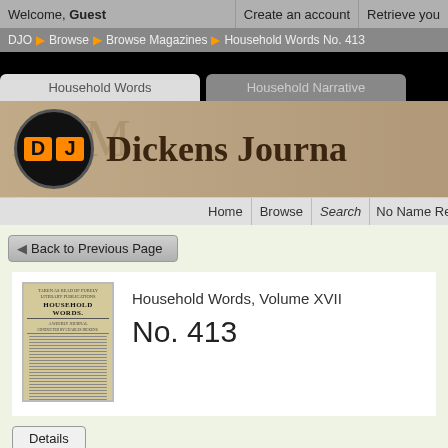Welcome, Guest   Create an account   Retrieve you
DJO > Browse > Browse Magazines > Household Words No. 413
Household Words
Household Narrative
Dickens Journa
Home   Browse   Search   No Name Rea
Back to Previous Page
Household Words, Volume XVII
No. 413
[Figure (photo): Thumbnail image of Household Words magazine cover, aged yellowed paper with text]
Details